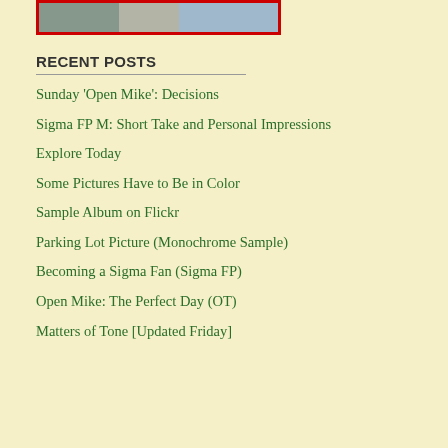[Figure (photo): Partial photo at top of left sidebar, partially cropped, with red border]
RECENT POSTS
Sunday 'Open Mike': Decisions
Sigma FP M: Short Take and Personal Impressions
Explore Today
Some Pictures Have to Be in Color
Sample Album on Flickr
Parking Lot Picture (Monochrome Sample)
Becoming a Sigma Fan (Sigma FP)
Open Mike: The Perfect Day (OT)
Matters of Tone [Updated Friday]
to encounter for the first time this wo and producer Brian Eno, from the ar years old now, but timeless...at least things have gotten worse since.
It's philosophy of technology, so if y avoid. But if I ever manage to edit th book project I periodically threaten,
Send this post to a friend
Note: Links in this post may be to our affiliates; sales thro
Original contents copyright 2010 by Michael C. Johnston
Featured Comment by Marty McA experience, the instruments and tool by their users) have limited options.'
Featured Comment by Craig Norr